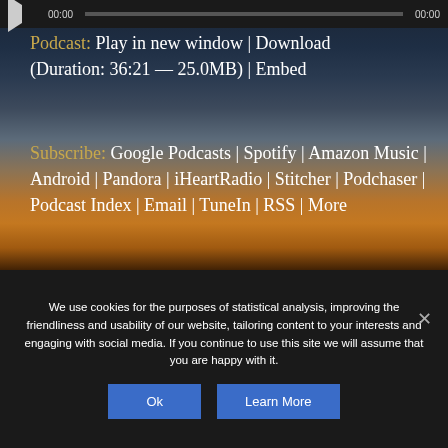[Figure (screenshot): Audio player bar with play button, progress bar, and timestamps 00:00 on both sides]
Podcast: Play in new window | Download (Duration: 36:21 — 25.0MB) | Embed
Subscribe: Google Podcasts | Spotify | Amazon Music | Android | Pandora | iHeartRadio | Stitcher | Podchaser | Podcast Index | Email | TuneIn | RSS | More
[Figure (photo): Partially visible thumbnail image]
We use cookies for the purposes of statistical analysis, improving the friendliness and usability of our website, tailoring content to your interests and engaging with social media. If you continue to use this site we will assume that you are happy with it.
Ok   Learn More